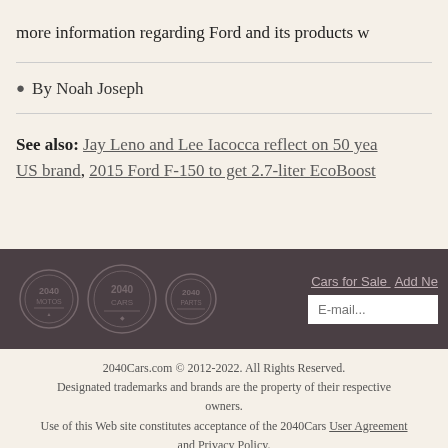more information regarding Ford and its products w
By Noah Joseph
See also: Jay Leno and Lee Iacocca reflect on 50 yea US brand, 2015 Ford F-150 to get 2.7-liter EcoBoost
[Figure (logo): 2040Cars footer with three circular logos: 2040 Motos, 2040 Cars, 2040 Parts on dark brown background, with Cars for Sale and Add New links and email input field]
2040Cars.com © 2012-2022. All Rights Reserved. Designated trademarks and brands are the property of their respective owners. Use of this Web site constitutes acceptance of the 2040Cars User Agreement and Privacy Policy. 0.034 s, 6731 u